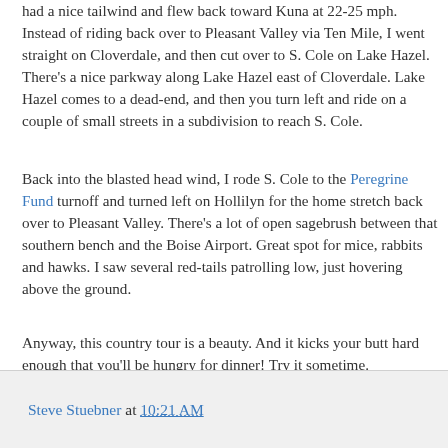had a nice tailwind and flew back toward Kuna at 22-25 mph. Instead of riding back over to Pleasant Valley via Ten Mile, I went straight on Cloverdale, and then cut over to S. Cole on Lake Hazel. There's a nice parkway along Lake Hazel east of Cloverdale. Lake Hazel comes to a dead-end, and then you turn left and ride on a couple of small streets in a subdivision to reach S. Cole.
Back into the blasted head wind, I rode S. Cole to the Peregrine Fund turnoff and turned left on Hollilyn for the home stretch back over to Pleasant Valley. There's a lot of open sagebrush between that southern bench and the Boise Airport. Great spot for mice, rabbits and hawks. I saw several red-tails patrolling low, just hovering above the ground.
Anyway, this country tour is a beauty. And it kicks your butt hard enough that you'll be hungry for dinner! Try it sometime. -SS
Steve Stuebner at 10:21 AM